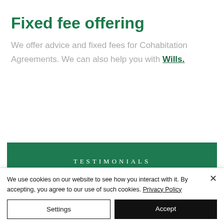Fixed fee offering
We offer advice and fixed fees for Cohabitation Agreements. We can also help you with Wills.
TESTIMONIALS
What our clients say
We use cookies on our website to see how you interact with it. By accepting, you agree to our use of such cookies. Privacy Policy